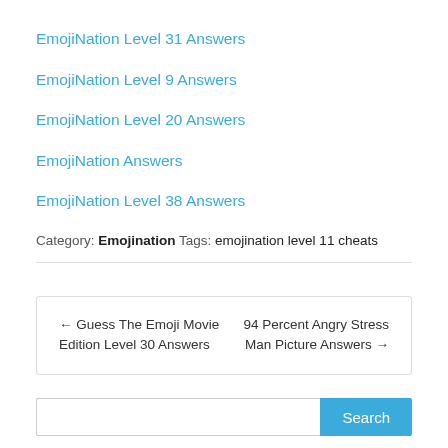EmojiNation Level 31 Answers
EmojiNation Level 9 Answers
EmojiNation Level 20 Answers
EmojiNation Answers
EmojiNation Level 38 Answers
Category: Emojination Tags: emojination level 11 cheats
← Guess The Emoji Movie Edition Level 30 Answers
94 Percent Angry Stress Man Picture Answers →